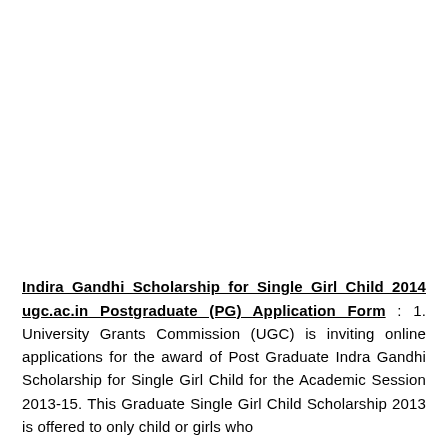Indira Gandhi Scholarship for Single Girl Child 2014 ugc.ac.in Postgraduate (PG) Application Form : 1. University Grants Commission (UGC) is inviting online applications for the award of Post Graduate Indra Gandhi Scholarship for Single Girl Child for the Academic Session 2013-15. This Graduate Single Girl Child Scholarship 2013 is offered to only child or girls who